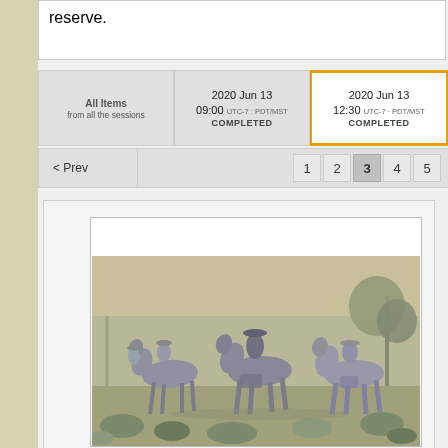reserve.
| All Items from all the sessions | 2020 Jun 13 09:00 UTC-7 : PDT/MST COMPLETED | 2020 Jun 13 12:30 UTC-7 · PDT/MST COMPLETED |
| --- | --- | --- |
< Prev   1  2  3  4  5
[Figure (illustration): Western painting showing cowboys on horseback in a desert landscape with scrub brush and trees. Several riders wearing hats are gathered, rendered in muted gray-green tones.]